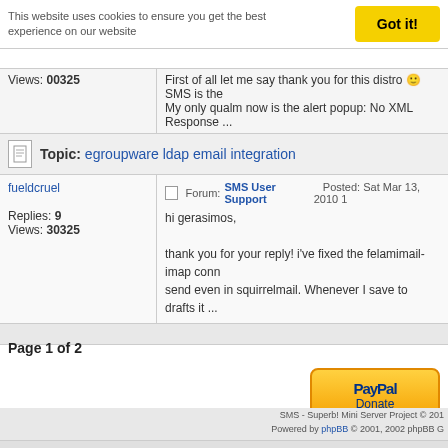This website uses cookies to ensure you get the best experience on our website
Got it!
Views: 00325
First of all let me say thank you for this distro 😊 SMS is the My only qualm now is the alert popup: No XML Response ...
Topic: egroupware ldap email integration
fueldcruel
Forum: SMS User Support   Posted: Sat Mar 13, 2010 1
Replies: 9
Views: 30325
hi gerasimos,

thank you for your reply! i've fixed the felamimail-imap conn send even in squirrelmail. Whenever I save to drafts it ...
Page 1 of 2
[Figure (logo): PayPal Donate button]
SMS - Superb! Mini Server Project © 201 Powered by phpBB © 2001, 2002 phpBB G iCGstation v1.0 Template By Ray © 2003, 2004